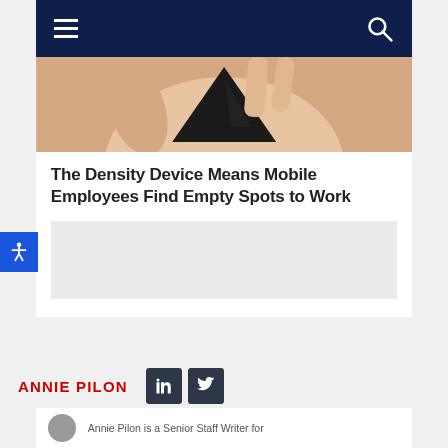Navigation bar with hamburger menu and search icon
[Figure (photo): Close-up of a hand holding a small black triangular/diamond-shaped device (Density device)]
The Density Device Means Mobile Employees Find Empty Spots to Work
[Figure (other): Advertisement placeholder box (light gray)]
ANNIE PILON
Annie Pilon is a Senior Staff Writer for...